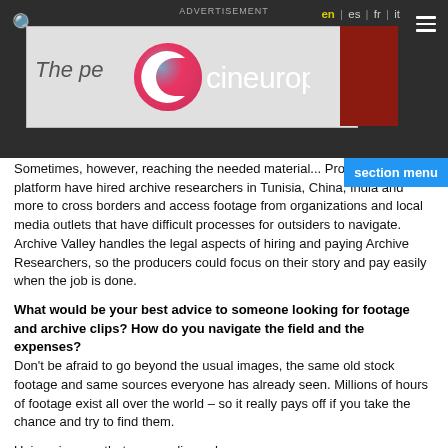Cineuropa — ADVERTISEMENT — en | es | fr | it
Sometimes, however, reaching the needed material ... Producers on our platform have hired archive researchers in Tunisia, China, India and more to cross borders and access footage from organizations and local media outlets that have difficult processes for outsiders to navigate. Archive Valley handles the legal aspects of hiring and paying Archive Researchers, so the producers could focus on their story and pay easily when the job is done.
What would be your best advice to someone looking for footage and archive clips? How do you navigate the field and the expenses?
Don't be afraid to go beyond the usual images, the same old stock footage and same sources everyone has already seen. Millions of hours of footage exist all over the world – so it really pays off if you take the chance and try to find them.
Unique images that your audience has never seen empower your storytelling, and sometimes these images shape the stories you tell.
Regarding the expenses and the many layers of complexity often associated with the research and licensing process – it helps, if